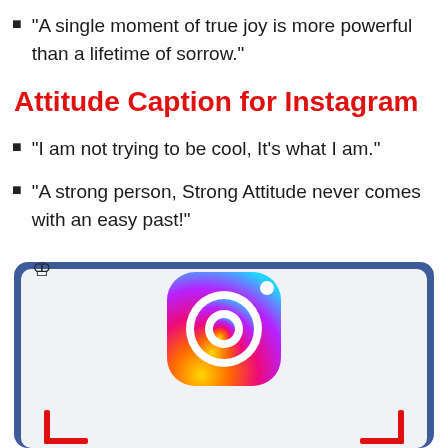“A single moment of true joy is more powerful than a lifetime of sorrow.”
Attitude Caption for Instagram
“I am not trying to be cool, It’s what I am.”
“A strong person, Strong Attitude never comes with an easy past!”
[Figure (illustration): Instagram branded graphic with blue border, white background, crown logo in top-left, large Instagram camera icon in center gradient (yellow-orange-pink-purple), and decorative red corner bracket elements at bottom-left and bottom-right.]